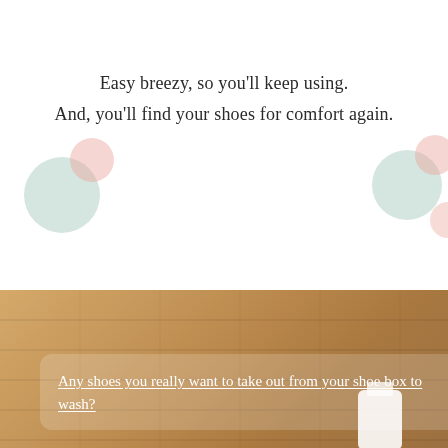Easy breezy, so you'll keep using.
And, you'll find your shoes for comfort again.
[Figure (photo): Bottom portion of the page showing a warm-toned wooden or bamboo surface background with a semi-transparent white rounded rectangle overlay containing underlined white text. A white product bottle/container is partially visible at the bottom right.]
Any shoes you really want to take out from your shoe box to wash?